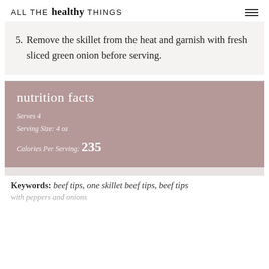ALL THE healthy THINGS
5. Remove the skillet from the heat and garnish with fresh sliced green onion before serving.
| nutrition facts |
| Serves 4 |
| Serving Size: 4 oz |
| Calories Per Serving: 235 |
Keywords: beef tips, one skillet beef tips, beef tips with peppers and onions